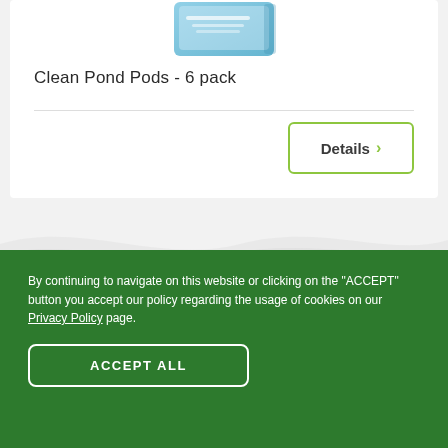[Figure (photo): Product photo of Clean Pond Pods 6 pack packaging with blue and white design]
Clean Pond Pods - 6 pack
Details >
[Figure (illustration): Decorative wave/pond background illustration in light grey]
By continuing to navigate on this website or clicking on the "ACCEPT" button you accept our policy regarding the usage of cookies on our Privacy Policy page.
ACCEPT ALL